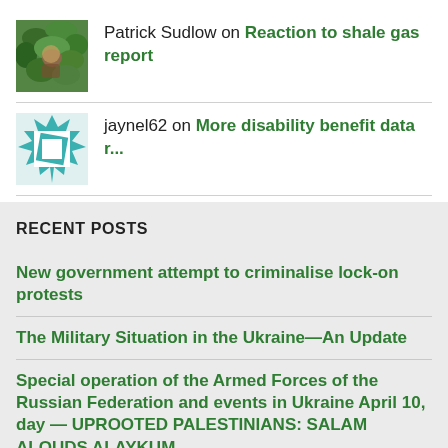Patrick Sudlow on Reaction to shale gas report
jaynel62 on More disability benefit data r...
RECENT POSTS
New government attempt to criminalise lock-on protests
The Military Situation in the Ukraine—An Update
Special operation of the Armed Forces of the Russian Federation and events in Ukraine April 10, day — UPROOTED PALESTINIANS: SALAM ALQUDS ALAYKUM